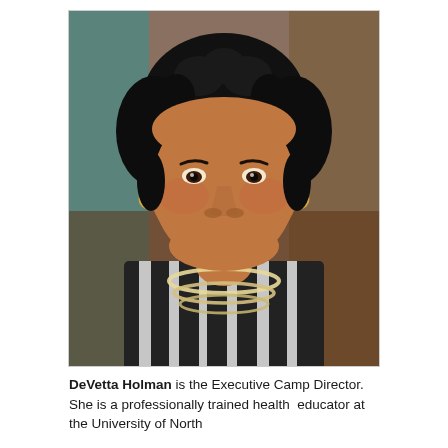[Figure (photo): Portrait photograph of DeVetta Holman, a woman with short curly/twisted black hair, wearing a black-and-white striped top and multi-strand pearl/bead necklace, smiling at the camera against a warm brown background.]
DeVetta Holman is the Executive Camp Director. She is a professionally trained health educator at the University of North